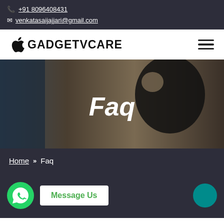📞 +91 8096408431
✉ venkatasaijajjari@gmail.com
[Figure (logo): GadgetTVCare logo with Apple icon and hamburger menu icon]
[Figure (photo): Dark banner image showing Apple logo and iPhone with overlaid text 'Faq']
Home » Faq
[Figure (infographic): WhatsApp icon with green Message Us button and teal circle icon on the right]